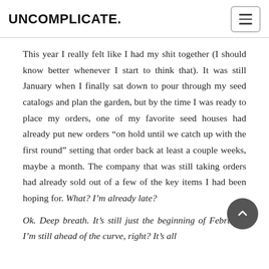UNCOMPLICATE.
This year I really felt like I had my shit together (I should know better whenever I start to think that). It was still January when I finally sat down to pour through my seed catalogs and plan the garden, but by the time I was ready to place my orders, one of my favorite seed houses had already put new orders “on hold until we catch up with the first round” setting that order back at least a couple weeks, maybe a month. The company that was still taking orders had already sold out of a few of the key items I had been hoping for. What? I’m already late?
Ok. Deep breath. It’s still just the beginning of February. I’m still ahead of the curve, right? It’s all